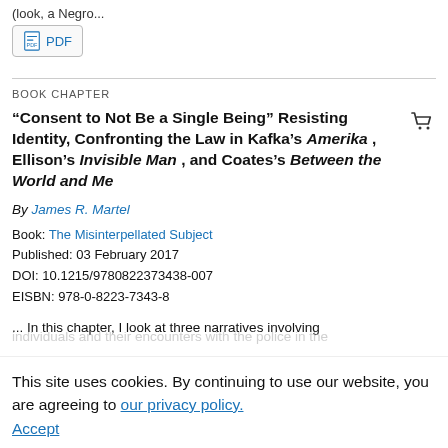(look, a Negro...
PDF
BOOK CHAPTER
“Consent to Not Be a Single Being” Resisting Identity, Confronting the Law in Kafka’s Amerika , Ellison’s Invisible Man , and Coates’s Between the World and Me
By James R. Martel
Book: The Misinterpellated Subject
Published: 03 February 2017
DOI: 10.1215/9780822373438-007
EISBN: 978-0-8223-7343-8
... In this chapter, I look at three narratives involving individuals and their encounters with the police in the
This site uses cookies. By continuing to use our website, you are agreeing to our privacy policy.
Accept